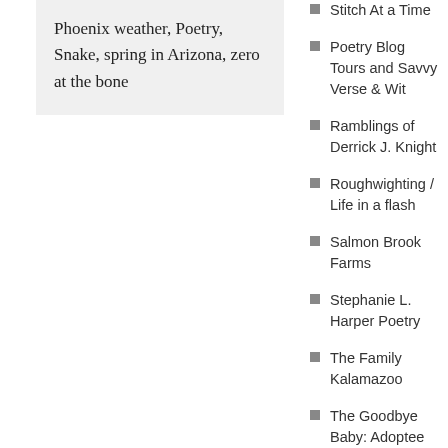Phoenix weather, Poetry, Snake, spring in Arizona, zero at the bone
Poetry Blog Tours and Savvy Verse & Wit
Ramblings of Derrick J. Knight
Roughwighting / Life in a flash
Salmon Brook Farms
Stephanie L. Harper Poetry
The Family Kalamazoo
The Goodbye Baby: Adoptee Diaries
The Reluctant Retiree
The Spectacled Bean